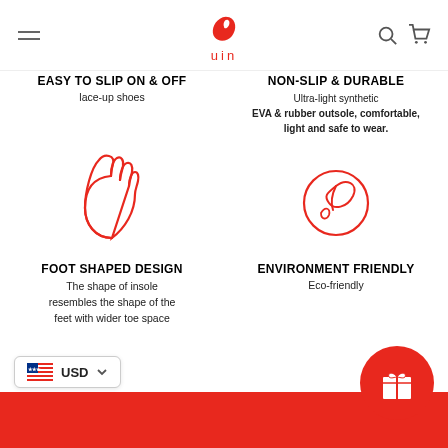uin (logo)
EASY TO SLIP ON & OFF
lace-up shoes
NON-SLIP & DURABLE
Ultra-light synthetic EVA & rubber outsole, comfortable, light and safe to wear.
[Figure (illustration): Red outline illustration of a foot/toe shape]
[Figure (illustration): Red outline illustration of an eco/earth globe with leaf]
FOOT SHAPED DESIGN
The shape of insole resembles the shape of the feet with wider toe space
ENVIRONMENT FRIENDLY
Eco-friendly
USD
[Figure (illustration): Gift box icon in white on red circle background]